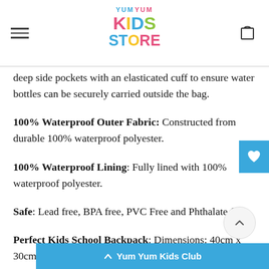Yum Yum Kids Store — navigation header
deep side pockets with an elasticated cuff to ensure water bottles can be securely carried outside the bag.
100% Waterproof Outer Fabric: Constructed from durable 100% waterproof polyester.
100% Waterproof Lining: Fully lined with 100% waterproof polyester.
Safe: Lead free, BPA free, PVC Free and Phthalate free.
Perfect Kids School Backpack: Dimensions: 40cm x 30cm x 12cm.
PLEASE NOTE: